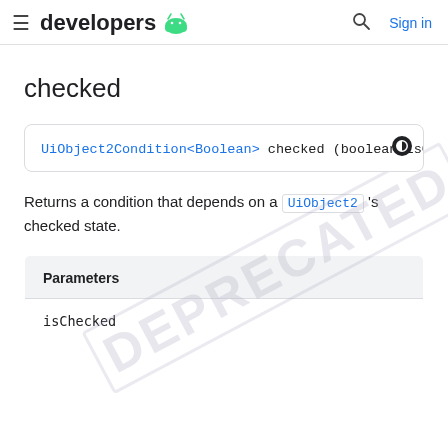developers | Sign in
checked
UiObject2Condition<Boolean> checked (boolean isCheck
Returns a condition that depends on a UiObject2 's checked state.
| Parameters |
| --- |
| isChecked |